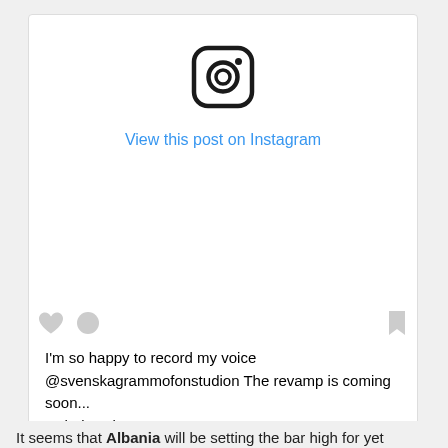[Figure (logo): Instagram camera logo icon — rounded square outline with circle inside and small dot upper right]
View this post on Instagram
[Figure (other): Instagram post embed UI with heart icon, circle icon on left and bookmark icon on right]
I'm so happy to record my voice @svenskagrammofonstudion The revamp is coming soon... “Ktheju Tokës”
A post shared by JONIDA MALIQI (@jonidamaliqi) on Fe...
It seems that Albania will be setting the bar high for yet